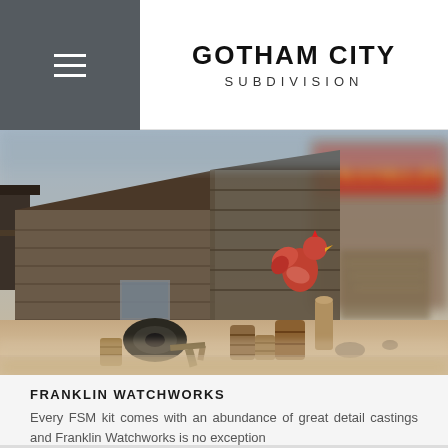GOTHAM CITY SUBDIVISION
[Figure (photo): Close-up photograph of a detailed miniature/model scene depicting an old Western-style street with weathered wooden buildings, scattered barrels, tires, junk, and a rooster figurine. A 'Franklin' sign is visible on the right side. Tilt-shift effect applied.]
FRANKLIN WATCHWORKS
Every FSM kit comes with an abundance of great detail castings and Franklin Watchworks is no exception